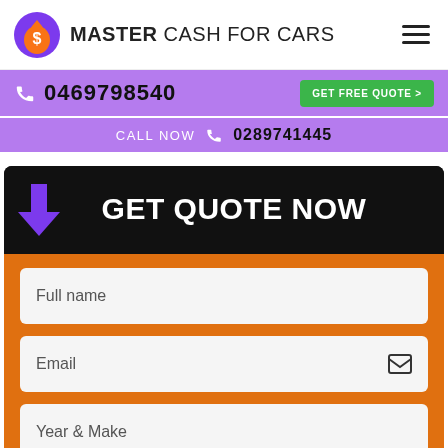MASTER CASH FOR CARS
0469798540
GET FREE QUOTE >
CALL NOW  0289741445
GET QUOTE NOW
Full name
Email
Year & Make